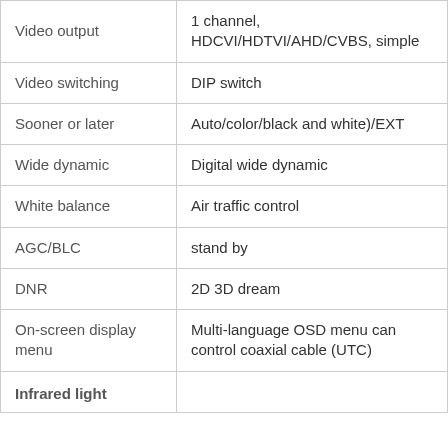| Video output | 1 channel, HDCVI/HDTVI/AHD/CVBS, simple |
| Video switching | DIP switch |
| Sooner or later | Auto/color/black and white)/EXT |
| Wide dynamic | Digital wide dynamic |
| White balance | Air traffic control |
| AGC/BLC | stand by |
| DNR | 2D 3D dream |
| On-screen display menu | Multi-language OSD menu can control coaxial cable (UTC) |
| Infrared light |  |